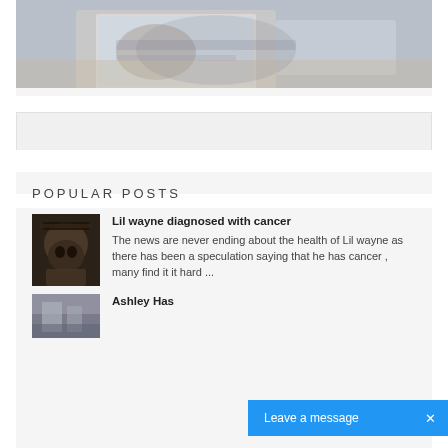[Figure (photo): Person using laptop and phone at a wooden desk, viewed from above/behind]
[Figure (other): Gray advertisement/banner bar]
POPULAR POSTS
[Figure (photo): Lil Wayne portrait photo thumbnail]
Lil wayne diagnosed with cancer
The news are never ending about the health of Lil wayne as there has been a speculation saying that he has cancer , many find it it hard ...
[Figure (photo): Ashley Has... thumbnail photo (building/city scene)]
Ashley Has
Leave a message
[Figure (other): Leave a message chat bubble overlay, blue with X close button]